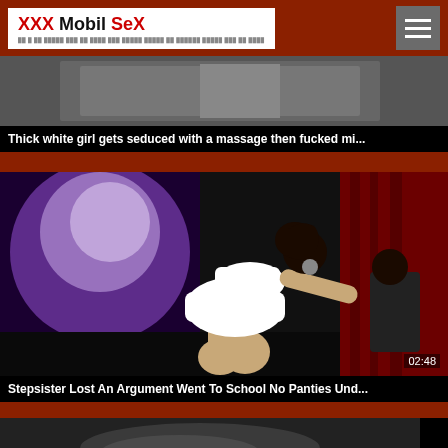XXX Mobil SeX
[Figure (screenshot): Partially visible video thumbnail - top card, blurred/dark image]
Thick white girl gets seduced with a massage then fucked mi...
[Figure (screenshot): Video thumbnail showing a person in white outfit on a dark stage with a projection screen, duration 02:48]
Stepsister Lost An Argument Went To School No Panties Und...
[Figure (screenshot): Partially visible video thumbnail at the bottom of the page]